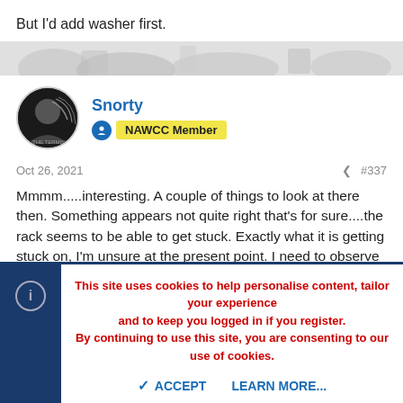But I'd add washer first.
[Figure (photo): Decorative banner image with watermark-style silhouette graphics in grey]
Snorty
NAWCC Member
Oct 26, 2021   #337
Mmmm.....interesting. A couple of things to look at there then. Something appears not quite right that's for sure....the rack seems to be able to get stuck. Exactly what it is getting stuck on, I'm unsure at the present point. I need to observe at warning and I haven't been able to this evening.
mill hopefully have more time tomorrow night so I'll video
This site uses cookies to help personalise content, tailor your experience and to keep you logged in if you register.
By continuing to use this site, you are consenting to our use of cookies.
ACCEPT   LEARN MORE...